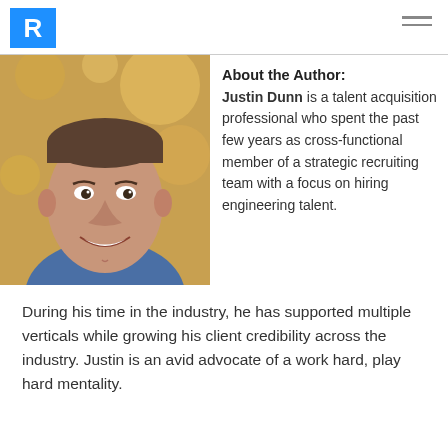R [logo] [menu]
[Figure (photo): Headshot of Justin Dunn, a man smiling, with short hair, wearing a blue shirt, against a gold/bokeh background.]
About the Author: Justin Dunn is a talent acquisition professional who spent the past few years as cross-functional member of a strategic recruiting team with a focus on hiring engineering talent.
During his time in the industry, he has supported multiple verticals while growing his client credibility across the industry. Justin is an avid advocate of a work hard, play hard mentality.